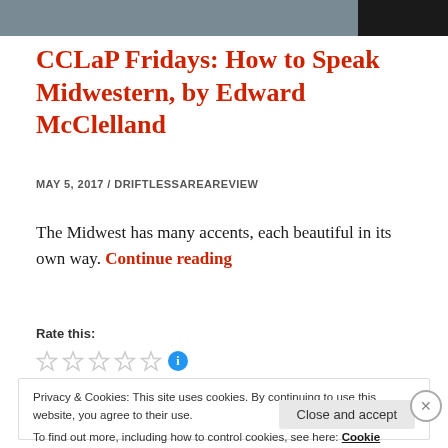[Figure (other): Gray and black header bar at the top of the page]
CCLaP Fridays: How to Speak Midwestern, by Edward McClelland
MAY 5, 2017 / DRIFTLESSAREAREVIEW
The Midwest has many accents, each beautiful in its own way. Continue reading
Rate this:
Privacy & Cookies: This site uses cookies. By continuing to use this website, you agree to their use. To find out more, including how to control cookies, see here: Cookie Policy
Close and accept